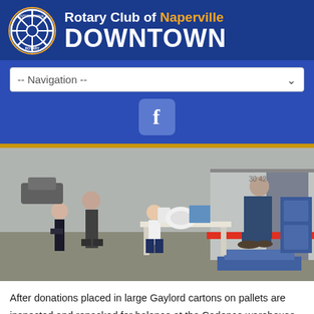Rotary Club of Naperville DOWNTOWN
-- Navigation --
[Figure (photo): People unloading or packing donation boxes at a table next to a large trailer truck outdoors; a young child in a white shirt is handing something to an adult, with other adults visible in the background.]
After donations placed in large Gaylord cartons on pallets are inspected and repacked for balance at the Cadence warehouse in Joliet, the trailer will head to Lumberton mid-week where they will be received by the